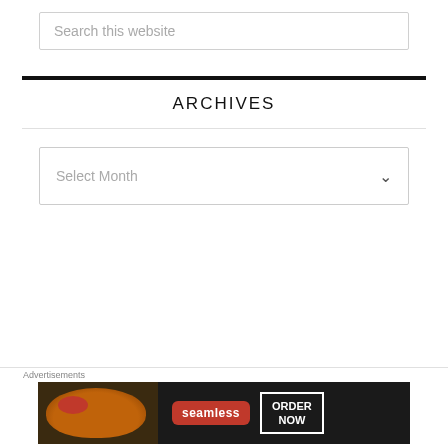Search this website
ARCHIVES
Select Month
Advertisements
[Figure (screenshot): Blue advertisement banner for WordPress hosting: 'When your WordPress site needs speed, you need']
Advertisements
[Figure (screenshot): Seamless food delivery advertisement with pizza image, red Seamless badge, and 'ORDER NOW' button on dark background]